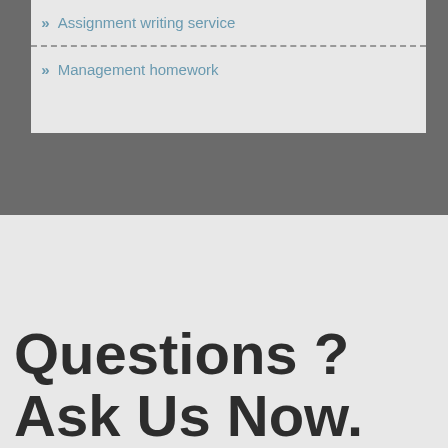» Assignment writing service
» Management homework
Questions ? Ask Us Now.